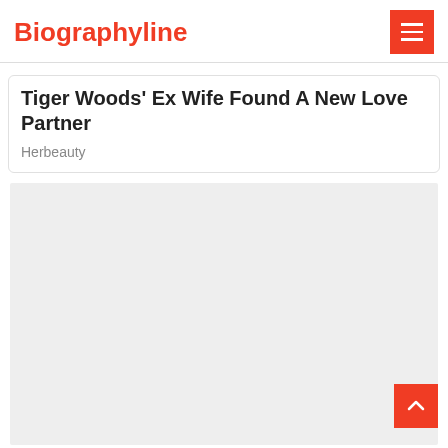Biographyline
Tiger Woods' Ex Wife Found A New Love Partner
Herbeauty
[Figure (photo): Gray placeholder image area for article content]